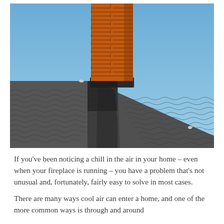[Figure (photo): Photo of a brick chimney (orange/red bricks) rising above a dark grey tiled roof against a clear blue sky. The roof has overlapping wave-patterned dark grey tiles and the chimney is centered in the image.]
If you've been noticing a chill in the air in your home – even when your fireplace is running – you have a problem that's not unusual and, fortunately, fairly easy to solve in most cases.
There are many ways cool air can enter a home, and one of the more common ways is through and around